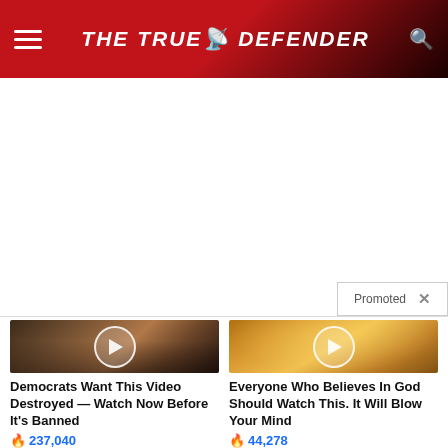THE TRUE DEFENDER
[Figure (other): Advertisement placeholder area with 'Promoted X' label in bottom right]
[Figure (photo): Video thumbnail showing Melania and Donald Trump with a play button overlay]
Democrats Want This Video Destroyed — Watch Now Before It's Banned
237,040
[Figure (photo): Video thumbnail showing golden cloudy sky with sunrays and a play button overlay]
Everyone Who Believes In God Should Watch This. It Will Blow Your Mind
44,278